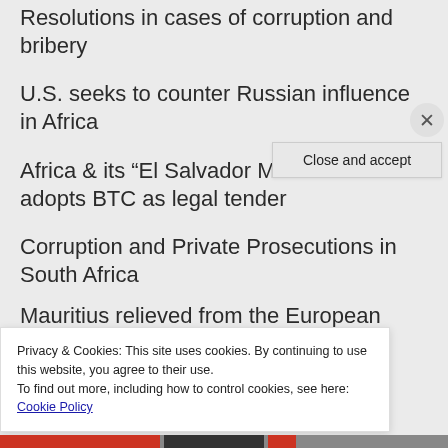Resolutions in cases of corruption and bribery
U.S. seeks to counter Russian influence in Africa
Africa & its “El Salvador Moment”: CAR adopts BTC as legal tender
Corruption and Private Prosecutions in South Africa
Mauritius relieved from the European
Privacy & Cookies: This site uses cookies. By continuing to use this website, you agree to their use.
To find out more, including how to control cookies, see here: Cookie Policy
Close and accept